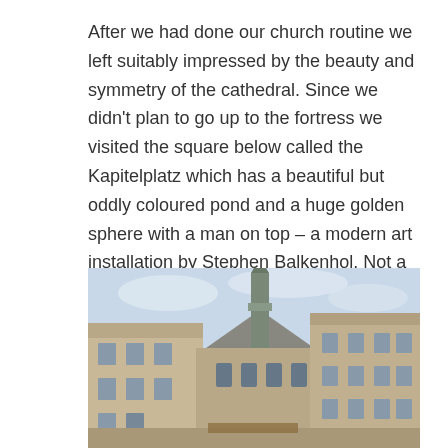After we had done our church routine we left suitably impressed by the beauty and symmetry of the cathedral. Since we didn't plan to go up to the fortress we visited the square below called the Kapitelplatz which has a beautiful but oddly coloured pond and a huge golden sphere with a man on top – a modern art installation by Stephen Balkenhol. Not a big fan of modern art in classical spaces myself, but here we had some fun taking photos supporting the sphere.
[Figure (photo): Photograph of a European city square showing historic stone buildings with a tall church steeple in the center background against a cloudy sky.]